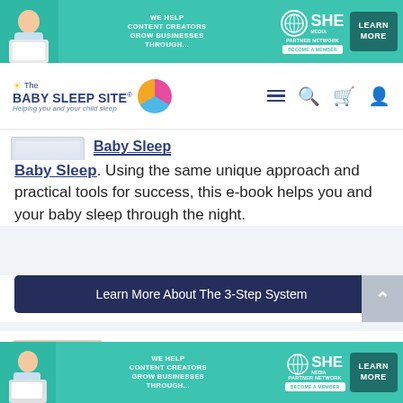[Figure (infographic): SHE Media partner network advertisement banner - teal background with woman using laptop and text 'WE HELP CONTENT CREATORS GROW BUSINESSES THROUGH...' with SHE logo and LEARN MORE button]
The Baby Sleep Site® | Helping you and your child sleep
Baby Sleep. Using the same unique approach and practical tools for success, this e-book helps you and your baby sleep through the night.
Learn More About The 3-Step System
If you're looking for ways to get your baby or
[Figure (infographic): SHE Media partner network advertisement banner - teal background with woman using laptop and text 'WE HELP CONTENT CREATORS GROW BUSINESSES THROUGH...' with SHE logo and LEARN MORE button]